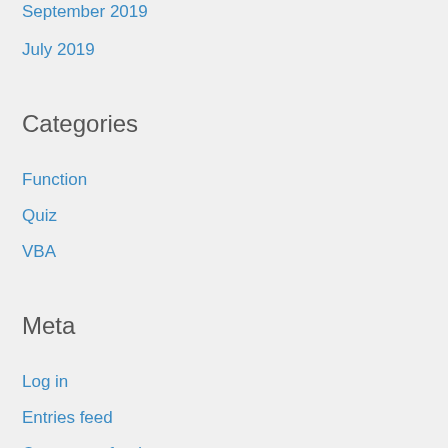September 2019
July 2019
Categories
Function
Quiz
VBA
Meta
Log in
Entries feed
Comments feed
WordPress.org